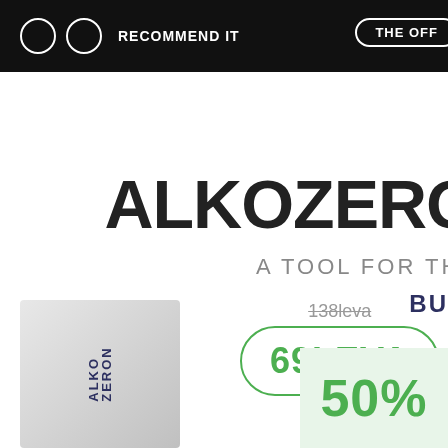RECOMMEND IT   THE OFF
ALKOZERO
A TOOL FOR THE
[Figure (photo): Product box for ALKOZERON supplement, light gray box]
138leva
69LEVA
BU
50%